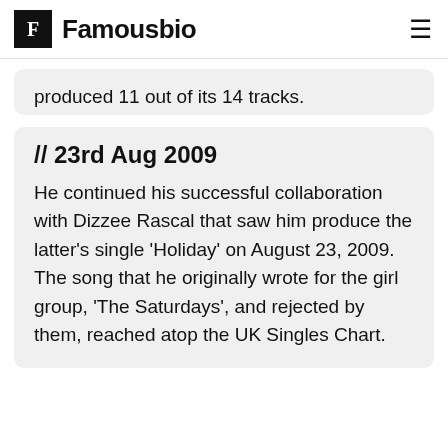F Famousbio ≡
produced 11 out of its 14 tracks.
// 23rd Aug 2009
He continued his successful collaboration with Dizzee Rascal that saw him produce the latter's single 'Holiday' on August 23, 2009. The song that he originally wrote for the girl group, 'The Saturdays', and rejected by them, reached atop the UK Singles Chart.